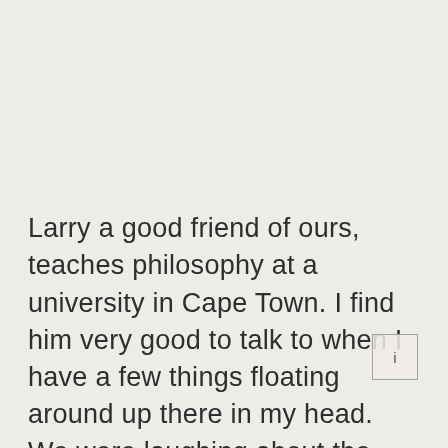Larry a good friend of ours, teaches philosophy at a university in Cape Town. I find him very good to talk to when I have a few things floating around up there in my head. We were laughing about the food culture we've created as people today. Mainly the one crop growing culture. How we remove plants individually, and try our best to keep them separate from natures creatures and plants, and all the partnerships that come with them. Its an endless battle of controlling the soil, what goes